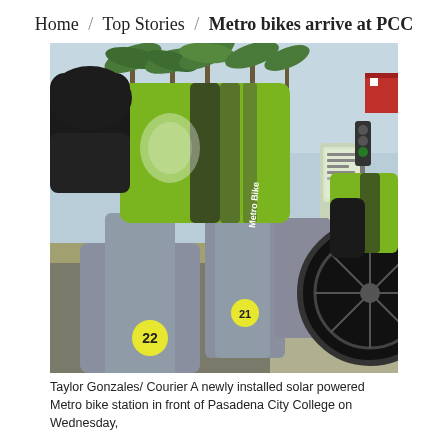Home / Top Stories / Metro bikes arrive at PCC
[Figure (photo): A row of Metro Bikes (numbered 22, 21, etc.) docked at a solar-powered bike station in front of Pasadena City College. The bikes have green and black panels with the Metro Bike logo. Palm trees, a traffic light, and a street are visible in the background on a sunny day.]
Taylor Gonzales/ Courier A newly installed solar powered Metro bike station in front of Pasadena City College on Wednesday,